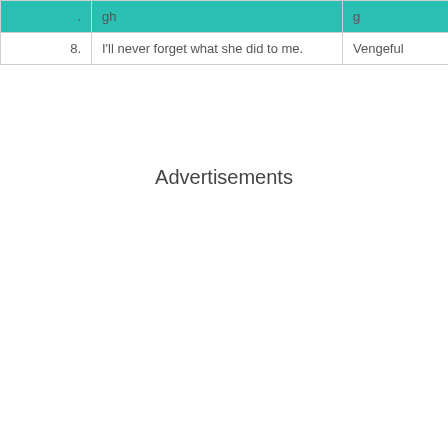|  | Sentence | Answer |
| --- | --- | --- |
| 8. | I'll never forget what she did to me. | Vengeful |
Advertisements